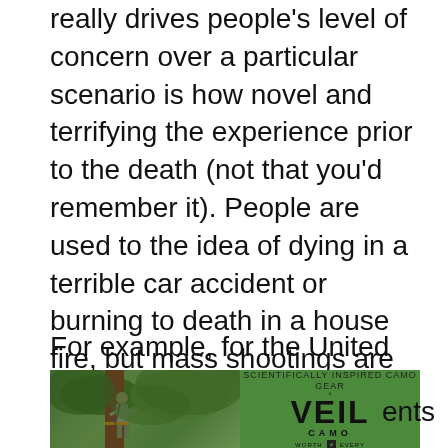really drives people's level of concern over a particular scenario is how novel and terrifying the experience prior to the death (not that you'd remember it). People are used to the idea of dying in a terrible car accident or burning to death in a house fire, but mass shootings are typically a more concerning scenario and therefore perceived as a higher risk despite the facts at hand.
For example, for the United States:
[Figure (photo): Left: A person in camouflage climbing a tree stand in a forest setting. Right: A green advertisement for VEIL CAMO brand with logo and text.]